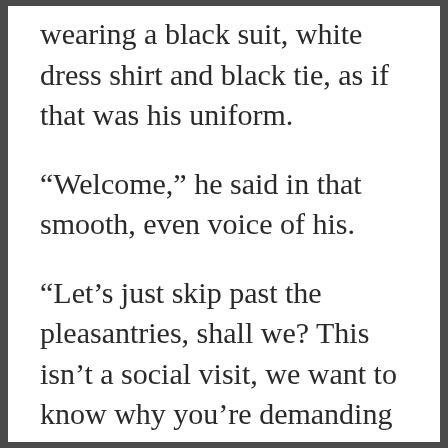wearing a black suit, white dress shirt and black tie, as if that was his uniform.
“Welcome,” he said in that smooth, even voice of his.
“Let’s just skip past the pleasantries, shall we? This isn’t a social visit, we want to know why you’re demanding our presence,” I